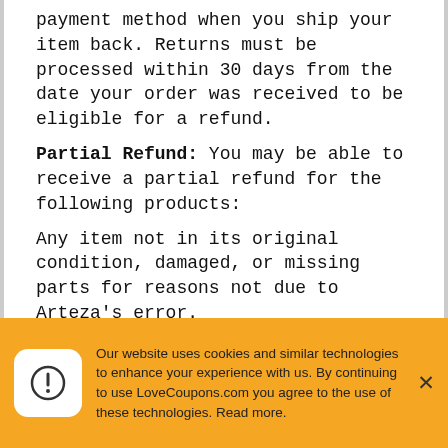payment method when you ship your item back. Returns must be processed within 30 days from the date your order was received to be eligible for a refund.
Partial Refund: You may be able to receive a partial refund for the following products:
Any item not in its original condition, damaged, or missing parts for reasons not due to Arteza's error.
Any item that is returned after 30 days from delivery.
Exchange: Arteza will replace damaged or defective items. If you need to exchange your
Our website uses cookies and similar technologies to enhance your experience with us. By continuing to use LoveCoupons.com you agree to the use of these technologies. Read more.